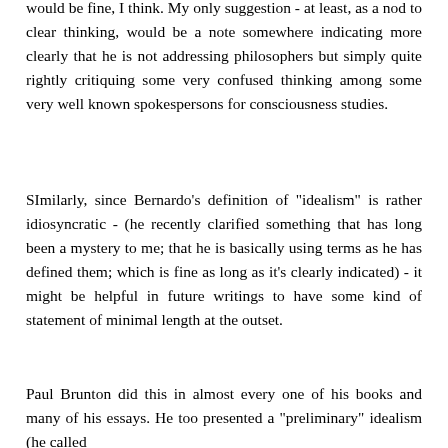would be fine, I think. My only suggestion - at least, as a nod to clear thinking, would be a note somewhere indicating more clearly that he is not addressing philosophers but simply quite rightly critiquing some very confused thinking among some very well known spokespersons for consciousness studies.
SImilarly, since Bernardo's definition of "idealism" is rather idiosyncratic - (he recently clarified something that has long been a mystery to me; that he is basically using terms as he has defined them; which is fine as long as it's clearly indicated) - it might be helpful in future writings to have some kind of statement of minimal length at the outset.
Paul Brunton did this in almost every one of his books and many of his essays. He too presented a "preliminary" idealism (he called